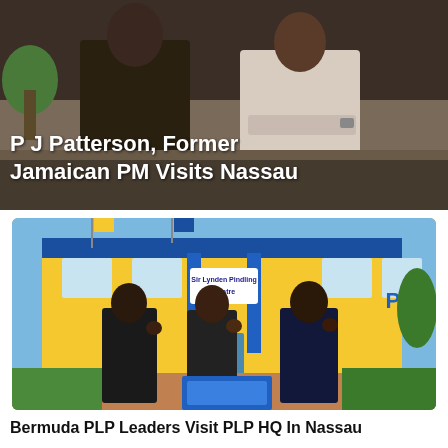[Figure (photo): Two people standing together indoors, one in a dark outfit and one in light clothing with arms crossed]
P J Patterson, Former Jamaican PM Visits Nassau
[Figure (photo): Three people standing in front of the Sir Lynden Pindling Centre (PLP headquarters), a yellow building with blue trim, waving at the camera]
Bermuda PLP Leaders Visit PLP HQ In Nassau